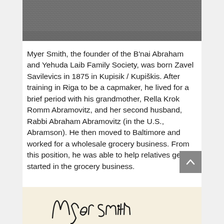[Figure (photo): Top portion of a grayscale photo showing a dark textured fabric or cloth material]
Myer Smith, the founder of the B'nai Abraham and Yehuda Laib Family Society, was born Zavel Savilevics in 1875 in Kupisik / Kupiškis. After training in Riga to be a capmaker, he lived for a brief period with his grandmother, Rella Krok Romm Abramovitz, and her second husband, Rabbi Abraham Abramovitz (in the U.S., Abramson). He then moved to Baltimore and worked for a wholesale grocery business. From this position, he was able to help relatives get started in the grocery business.
[Figure (photo): Bottom portion of a handwritten signature reading 'Myer Smith' on a yellowed/cream colored paper background]